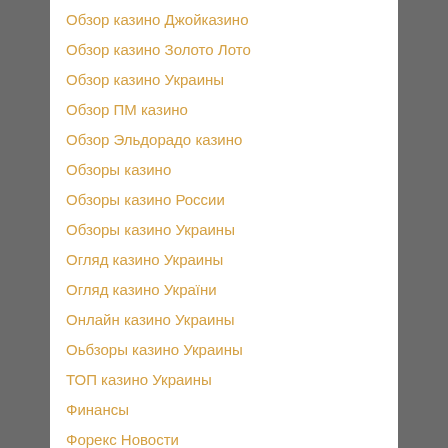Обзор казино Джойказино
Обзор казино Золото Лото
Обзор казино Украины
Обзор ПМ казино
Обзор Эльдорадо казино
Обзоры казино
Обзоры казино России
Обзоры казино Украины
Огляд казино Украины
Огляд казино України
Онлайн казино Украины
Оьбзоры казино Украины
ТОП казино Украины
Финансы
Форекс Новости